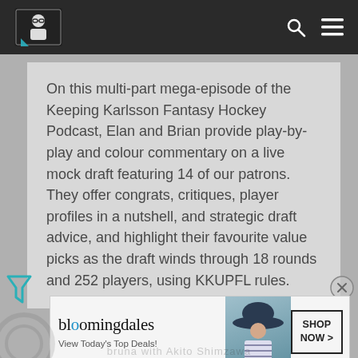Keeping Karlsson Fantasy Hockey Podcast website header with logo and navigation icons
On this multi-part mega-episode of the Keeping Karlsson Fantasy Hockey Podcast, Elan and Brian provide play-by-play and colour commentary on a live mock draft featuring 14 of our patrons. They offer congrats, critiques, player profiles in a nutshell, and strategic draft advice, and highlight their favourite value picks as the draft winds through 18 rounds and 252 players, using KKUPFL rules.
[Figure (screenshot): Bloomingdale's advertisement banner: 'bloomingdales View Today's Top Deals!' with a SHOP NOW > button and a photo of a woman in a hat]
bloomingdales — View Today's Top Deals! SHOP NOW >